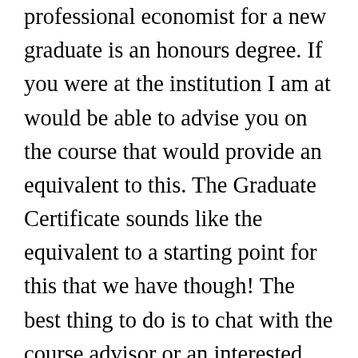professional economist for a new graduate is an honours degree. If you were at the institution I am at would be able to advise you on the course that would provide an equivalent to this. The Graduate Certificate sounds like the equivalent to a starting point for this that we have though! The best thing to do is to chat with the course advisor or an interested lecturer who knows about the range of courses at Sydney as they will be able to tell you more about the best courses that will replicate this. In addition, because you have previous experience there might be other options available (particularly for combining work (after or while completing the certificate) and study – I know of at least one student here who did this) and so another thing to think about is to chat with anyone